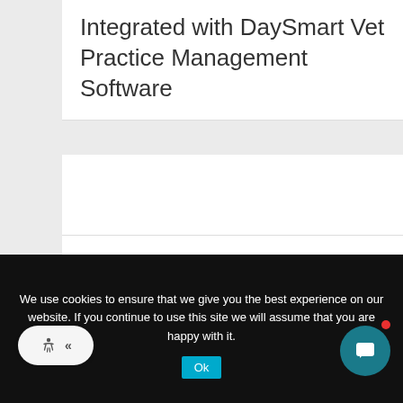Integrated with DaySmart Vet Practice Management Software
khowarth
We use cookies to ensure that we give you the best experience on our website. If you continue to use this site we will assume that you are happy with it.
Ok